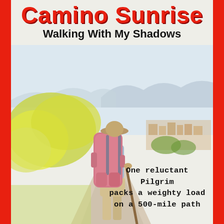Camino Sunrise
Walking With My Shadows
[Figure (illustration): Watercolor illustration of a hiker seen from behind, wearing a wide-brimmed hat, carrying a large pink/red backpack, holding a walking stick, standing on a dirt path. Yellow-green bushes to the left, a hillside town visible on the right, mountains in the background under a pale sky.]
One reluctant Pilgrim packs a weighty load on a 500-mile path